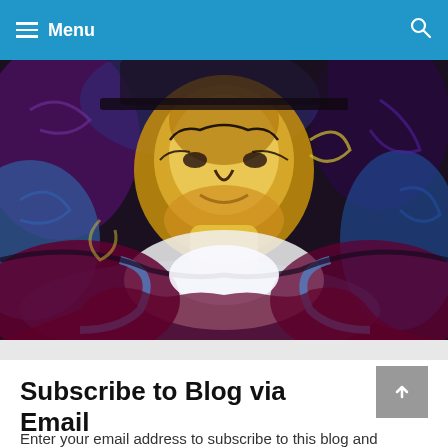Menu
[Figure (illustration): A stylized, painterly digital artwork of a person's face and upper torso, rendered with vibrant swirling colors including golds, blues, purples, and reds, reminiscent of an oil painting or neural style transfer effect.]
Subscribe to Blog via Email
Enter your email address to subscribe to this blog and receive